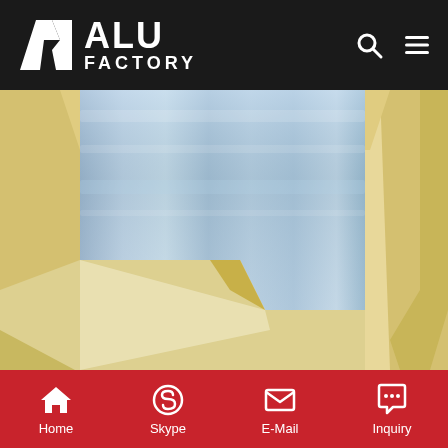ALU FACTORY
[Figure (photo): Aluminum coil product wrapped in protective yellow/cream packaging material, showing shiny metallic silver aluminum coil surface]
Henan Zhongxin Aluminum Co., Ltd. - Aluminum Coil
Home | Skype | E-Mail | Inquiry